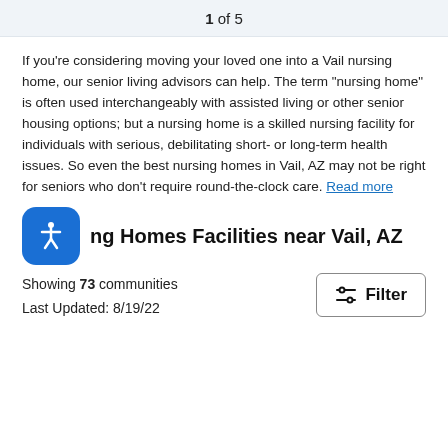1 of 5
If you're considering moving your loved one into a Vail nursing home, our senior living advisors can help. The term “nursing home” is often used interchangeably with assisted living or other senior housing options; but a nursing home is a skilled nursing facility for individuals with serious, debilitating short- or long-term health issues. So even the best nursing homes in Vail, AZ may not be right for seniors who don’t require round-the-clock care. Read more
ng Homes Facilities near Vail, AZ
Showing 73 communities
Last Updated: 8/19/22